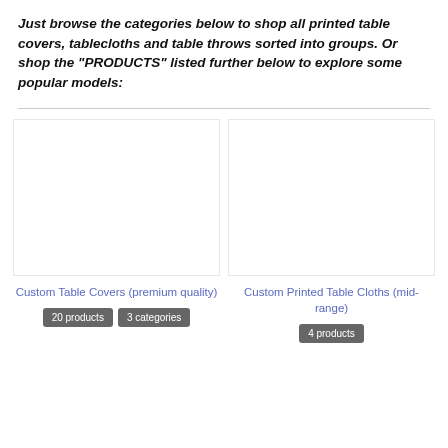Just browse the categories below to shop all printed table covers, tablecloths and table throws sorted into groups. Or shop the "PRODUCTS" listed further below to explore some popular models:
[Figure (other): Product card for Custom Table Covers (premium quality) with image placeholder, title link, and badges showing '20 products' and '3 categories']
[Figure (other): Product card for Custom Printed Table Cloths (mid-range) with image placeholder, title link, and badge showing '4 products']